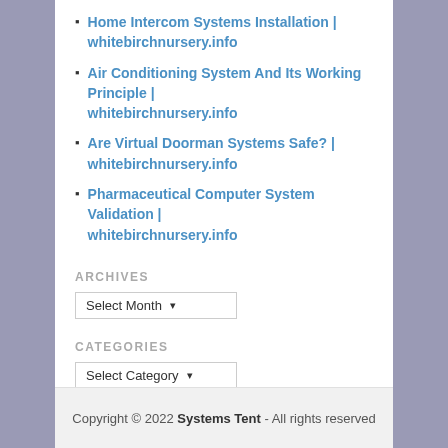Home Intercom Systems Installation | whitebirchnursery.info
Air Conditioning System And Its Working Principle | whitebirchnursery.info
Are Virtual Doorman Systems Safe? | whitebirchnursery.info
Pharmaceutical Computer System Validation | whitebirchnursery.info
ARCHIVES
Select Month
CATEGORIES
Select Category
Copyright © 2022 Systems Tent - All rights reserved